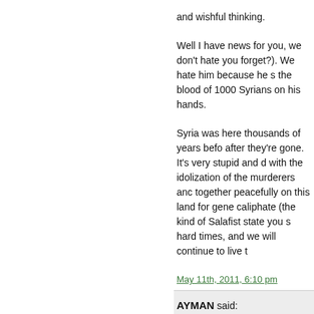and wishful thinking.

Well I have news for you, we don't hate you forget?). We hate him because he s the blood of 1000 Syrians on his hands.

Syria was here thousands of years befo after they're gone. It's very stupid and d with the idolization of the murderers an together peacefully on this land for gene caliphate (the kind of Salafist state you hard times, and we will continue to live t
May 11th, 2011, 6:10 pm
AYMAN said:
Bashar has turned genocidal. He is now
May 11th, 2011, 6:13 pm
NK said:
Nour
Wow man, seriously, what I wrote in my either have proof of you don't, it's not ro
Unless you show a video where protest. you and others insist the protesters cha your last comment makes as much sens